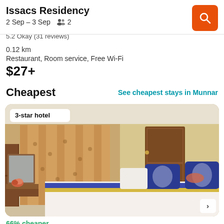Issacs Residency
2 Sep – 3 Sep  👥 2
5.2 Okay (31 reviews)
0.12 km
Restaurant, Room service, Free Wi-Fi
$27+
Cheapest
See cheapest stays in Munnar
[Figure (photo): Hotel room photo showing a double bed with blue and white bedding, blue decorative pillows with tree pattern, floral curtains, wooden wardrobe, dressing table with flowers, and a door on the right side. A '3-star hotel' badge is shown in the top left corner.]
66% cheaper